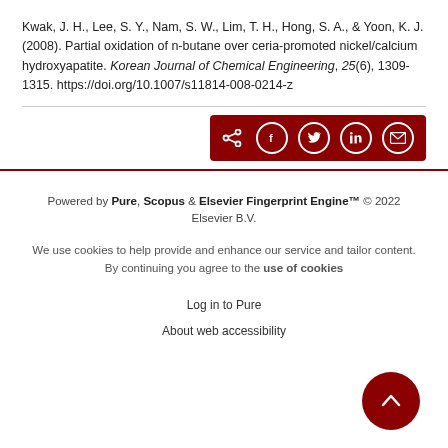Kwak, J. H., Lee, S. Y., Nam, S. W., Lim, T. H., Hong, S. A., & Yoon, K. J. (2008). Partial oxidation of n-butane over ceria-promoted nickel/calcium hydroxyapatite. Korean Journal of Chemical Engineering, 25(6), 1309-1315. https://doi.org/10.1007/s11814-008-0214-z
[Figure (other): Share bar with icons for share, Facebook, Twitter, LinkedIn, and email on dark red background]
Powered by Pure, Scopus & Elsevier Fingerprint Engine™ © 2022 Elsevier B.V.
We use cookies to help provide and enhance our service and tailor content. By continuing you agree to the use of cookies
Log in to Pure
About web accessibility